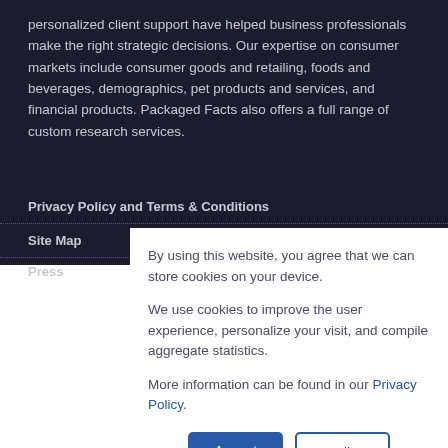personalized client support have helped business professionals make the right strategic decisions. Our expertise on consumer markets include consumer goods and retailing, foods and beverages, demographics, pet products and services, and financial products. Packaged Facts also offers a full range of custom research services.
Privacy Policy and Terms & Conditions
Site Map
Press
By using this website, you agree that we can store cookies on your device.
We use cookies to improve the user experience, personalize your visit, and compile aggregate statistics.
More information can be found in our Privacy Policy.